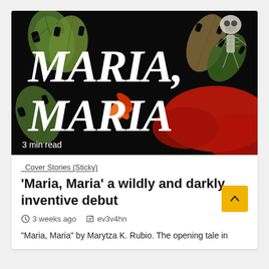[Figure (illustration): Book cover for 'Maria, Maria' featuring large white decorative script text on a dark background with tropical monstera leaves in green and red, orange flowers, and a skeleton in the upper right corner. Text reads 'MARIA, MARIA' in bold white lettering. '3 min read' label at bottom left.]
_Cover Stories (Sticky)
'Maria, Maria' a wildly and darkly inventive debut
3 weeks ago   ev3v4hn
"Maria, Maria" by Marytza K. Rubio. The opening tale in